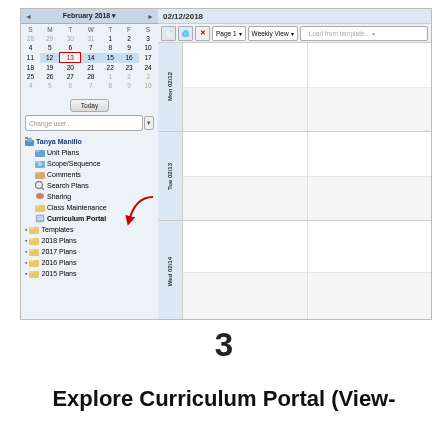[Figure (screenshot): Screenshot of a curriculum planning application showing a monthly mini-calendar for February 2018 on the left panel with a tree navigation (Tanya Manlio, Unit Plans, Scope/Sequence, Comments, Search Plans, Sharing, Class Maintenance, Curriculum Portal highlighted with red arrow, Templates, 2018 Plans, 2017 Plans, 2016 Plans, 2015 Plans), and a weekly view calendar on the right showing Mon 02/12, Tue 02/13, Wed 02/14 with date header 02/12/2018 and toolbar with Page 1, Weekly View dropdowns.]
3
Explore Curriculum Portal (View-